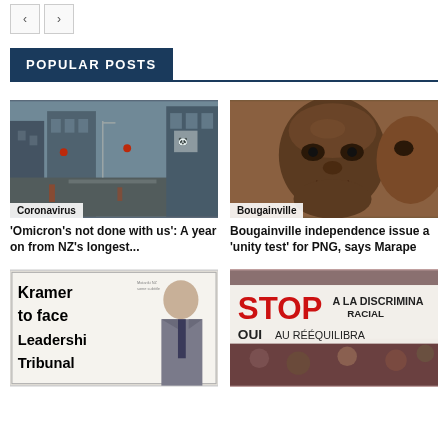POPULAR POSTS
[Figure (photo): Rainy city street scene, labelled Coronavirus]
'Omicron's not done with us': A year on from NZ's longest...
[Figure (photo): Close-up of two men's faces, labelled Bougainville]
Bougainville independence issue a 'unity test' for PNG, says Marape
[Figure (photo): Newspaper front page: Kramer to face Leadership Tribunal]
[Figure (photo): Protest banner reading STOP A LA DISCRIMINATION RACIALE, OUI AU RÉÉQUILIBRAGE]